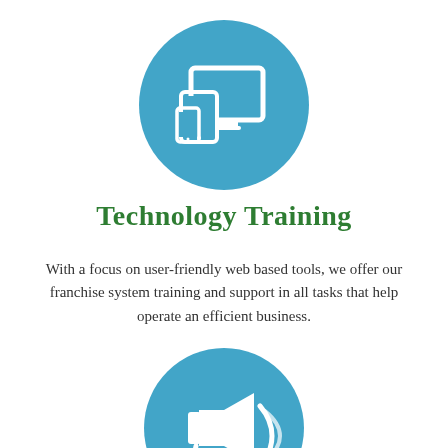[Figure (illustration): Blue circle icon with white devices (monitor, tablet, phone) representing technology training]
Technology Training
With a focus on user-friendly web based tools, we offer our franchise system training and support in all tasks that help operate an efficient business.
[Figure (illustration): Blue circle icon with a white megaphone/loudspeaker representing marketing or announcements]